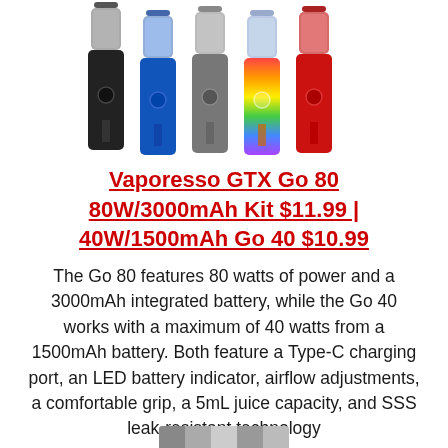[Figure (photo): Five Vaporesso GTX Go vape pen devices standing upright in a row, in colors: black, blue, gray/silver, rainbow/multicolor, and red. Each has a tank section on top and a body with a round button.]
Vaporesso GTX Go 80 80W/3000mAh Kit $11.99 | 40W/1500mAh Go 40 $10.99
The Go 80 features 80 watts of power and a 3000mAh integrated battery, while the Go 40 works with a maximum of 40 watts from a 1500mAh battery. Both feature a Type-C charging port, an LED battery indicator, airflow adjustments, a comfortable grip, a 5mL juice capacity, and SSS leak-resistant technology